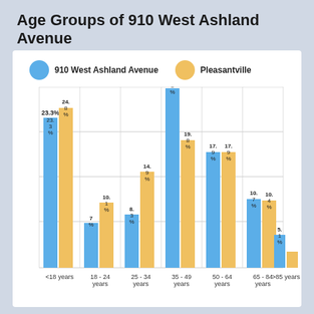Age Groups of 910 West Ashland Avenue
[Figure (grouped-bar-chart): Age Groups of 910 West Ashland Avenue]